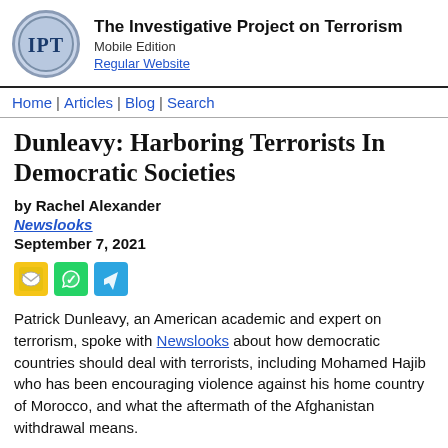The Investigative Project on Terrorism Mobile Edition Regular Website
Home | Articles | Blog | Search
Dunleavy: Harboring Terrorists In Democratic Societies
by Rachel Alexander
Newslooks
September 7, 2021
[Figure (other): Share icons: email, WhatsApp, Telegram]
Patrick Dunleavy, an American academic and expert on terrorism, spoke with Newslooks about how democratic countries should deal with terrorists, including Mohamed Hajib who has been encouraging violence against his home country of Morocco, and what the aftermath of the Afghanistan withdrawal means.
What is terrorism